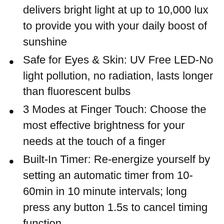delivers bright light at up to 10,000 lux to provide you with your daily boost of sunshine
Safe for Eyes & Skin: UV Free LED-No light pollution, no radiation, lasts longer than fluorescent bulbs
3 Modes at Finger Touch: Choose the most effective brightness for your needs at the touch of a finger
Built-In Timer: Re-energize yourself by setting an automatic timer from 10-60min in 10 minute intervals; long press any button 1.5s to cancel timing function
Portable Design: Compact size with foldable bracket makes the lamp easy to store and carry; fits next to your laptop, on the kitchen counter, on your cubicle desk,